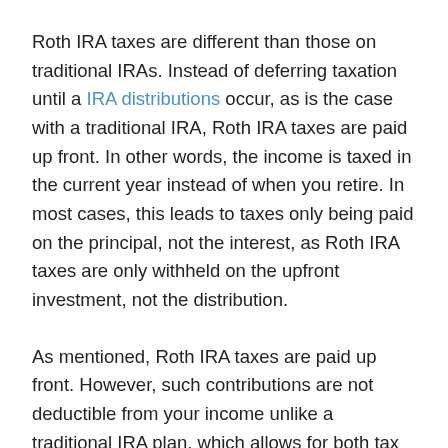Roth IRA taxes are different than those on traditional IRAs. Instead of deferring taxation until a IRA distributions occur, as is the case with a traditional IRA, Roth IRA taxes are paid up front. In other words, the income is taxed in the current year instead of when you retire. In most cases, this leads to taxes only being paid on the principal, not the interest, as Roth IRA taxes are only withheld on the upfront investment, not the distribution.
As mentioned, Roth IRA taxes are paid up front. However, such contributions are not deductible from your income unlike a traditional IRA plan, which allows for both tax deferral and the deduction of your contributions. This takes on the greatest importance if you are near an tax bracket threshold that would allow you to benefit from tax deductions that are currently not available to you.